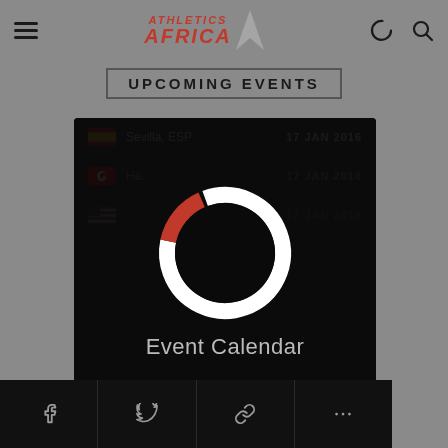Athletics Africa
UPCOMING EVENTS
[Figure (screenshot): Event card showing upcoming athletics events with entries: Sevilla, ESP - 17 JAN 2016; Hammamet, TUN - 17 JAN 2016; USA event - 17 JAN 2016. Overlaid by a loading/calendar spinner icon (donut shape, mostly white with red segment at bottom-right) on dark background with text 'Event Calendar']
Social share bar with Facebook, Twitter, link, and more options buttons